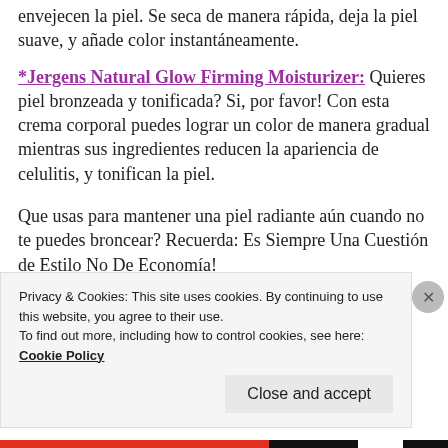envejecen la piel. Se seca de manera rápida, deja la piel suave, y añade color instantáneamente.
*Jergens Natural Glow Firming Moisturizer: Quieres piel bronzeada y tonificada? Si, por favor! Con esta crema corporal puedes lograr un color de manera gradual mientras sus ingredientes reducen la apariencia de celulitis, y tonifican la piel.
Que usas para mantener una piel radiante aún cuando no te puedes broncear? Recuerda: Es Siempre Una Cuestión de Estilo No De Economía!
Privacy & Cookies: This site uses cookies. By continuing to use this website, you agree to their use.
To find out more, including how to control cookies, see here: Cookie Policy
Close and accept